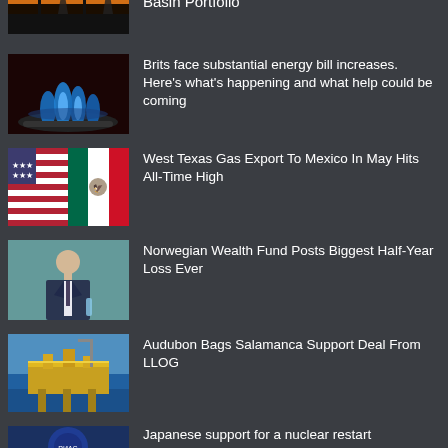[Figure (photo): Oil pump jacks at sunset]
Basin Portfolio
[Figure (photo): Blue gas flame on stove burner]
Brits face substantial energy bill increases. Here's what's happening and what help could be coming
[Figure (photo): American and Mexican flags]
West Texas Gas Export To Mexico In May Hits All-Time High
[Figure (photo): Man in suit at podium]
Norwegian Wealth Fund Posts Biggest Half-Year Loss Ever
[Figure (photo): Offshore oil platform]
Audubon Bags Salamanca Support Deal From LLOG
[Figure (photo): Partial image at bottom, appears to be news related to nuclear]
Japanese support for a nuclear restart